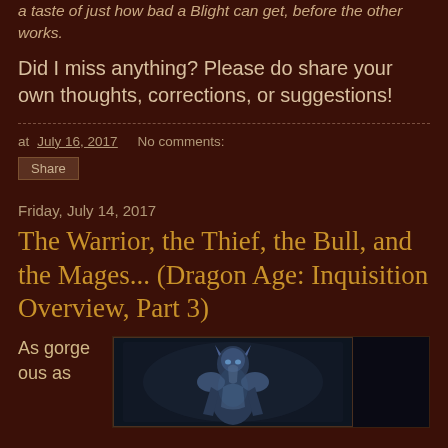a taste of just how bad a Blight can get, before the other works.
Did I miss anything? Please do share your own thoughts, corrections, or suggestions!
at July 16, 2017   No comments:
Share
Friday, July 14, 2017
The Warrior, the Thief, the Bull, and the Mages... (Dragon Age: Inquisition Overview, Part 3)
As gorge ous as
[Figure (photo): Dark fantasy armor/character artwork showing a figure in blue-tinted armored suit against a dark background]